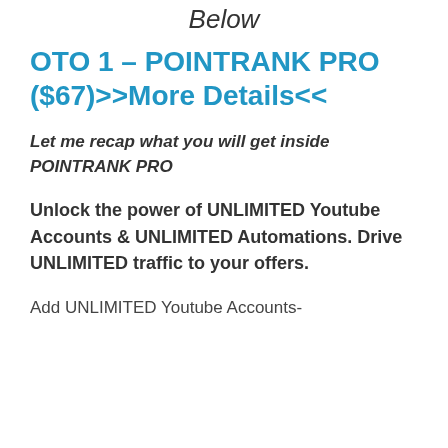Below
OTO 1 – POINTRANK PRO ($67)>>More Details<<
Let me recap what you will get inside POINTRANK PRO
Unlock the power of UNLIMITED Youtube Accounts & UNLIMITED Automations. Drive UNLIMITED traffic to your offers.
Add UNLIMITED Youtube Accounts-